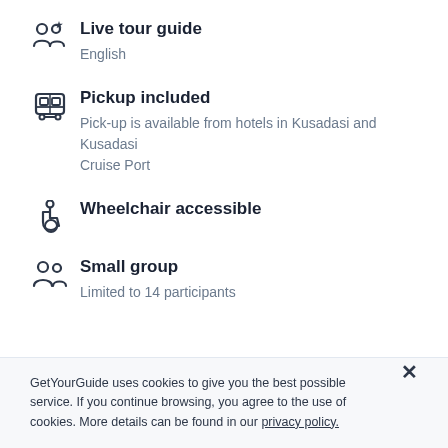Live tour guide
English
Pickup included
Pick-up is available from hotels in Kusadasi and Kusadasi Cruise Port
Wheelchair accessible
Small group
Limited to 14 participants
GetYourGuide uses cookies to give you the best possible service. If you continue browsing, you agree to the use of cookies. More details can be found in our privacy policy.